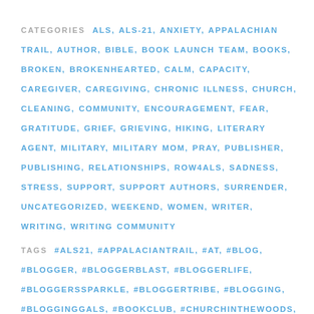CATEGORIES ALS, ALS-21, ANXIETY, APPALACHIAN TRAIL, AUTHOR, BIBLE, BOOK LAUNCH TEAM, BOOKS, BROKEN, BROKENHEARTED, CALM, CAPACITY, CAREGIVER, CAREGIVING, CHRONIC ILLNESS, CHURCH, CLEANING, COMMUNITY, ENCOURAGEMENT, FEAR, GRATITUDE, GRIEF, GRIEVING, HIKING, LITERARY AGENT, MILITARY, MILITARY MOM, PRAY, PUBLISHER, PUBLISHING, RELATIONSHIPS, ROW4ALS, SADNESS, STRESS, SUPPORT, SUPPORT AUTHORS, SURRENDER, UNCATEGORIZED, WEEKEND, WOMEN, WRITER, WRITING, WRITING COMMUNITY
TAGS #ALS21, #APPALACIANTRAIL, #AT, #BLOG, #BLOGGER, #BLOGGERBLAST, #BLOGGERLIFE, #BLOGGERSSPARKLE, #BLOGGERTRIBE, #BLOGGING, #BLOGGINGGALS, #BOOKCLUB, #CHURCHINTHEWOODS, #PUBLISH, #QUERY, #SUNDAYTHOUGHTS, #SURRENDERONTHETRAIL, #THORNCROWN, #THORNCROWNCHAPEL, #WRITERSLIFE, ALS, CAREGIVER, CAREGIVING, PUBLISHER, PUBLISHING, SURRENDER, WRITER